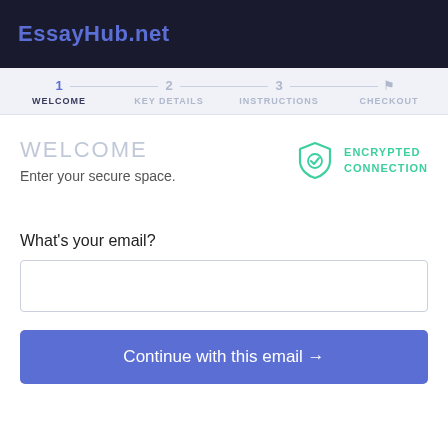EssayHub.net
1 WELCOME   2 KEY DETAILS   3 INSTRUCTIONS   🏳 CHECKOUT
WELCOME
Enter your secure space.
[Figure (illustration): Green shield icon with checkmark indicating encrypted connection]
ENCRYPTED CONNECTION
What's your email?
Continue with this email →